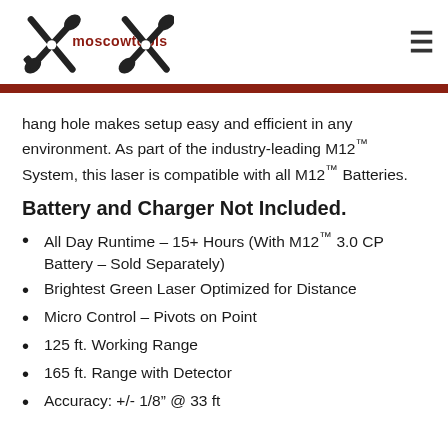[Figure (logo): Moscowtools logo with two crossed wrench/screwdriver icons and the text 'moscowtools' in dark red]
hang hole makes setup easy and efficient in any environment. As part of the industry-leading M12™ System, this laser is compatible with all M12™ Batteries.
Battery and Charger Not Included.
All Day Runtime – 15+ Hours (With M12™ 3.0 CP Battery – Sold Separately)
Brightest Green Laser Optimized for Distance
Micro Control – Pivots on Point
125 ft. Working Range
165 ft. Range with Detector
Accuracy: +/- 1/8" @ 33 ft